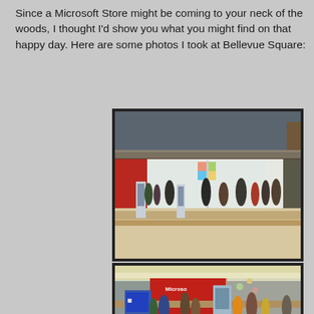Since a Microsoft Store might be coming to your neck of the woods, I thought I'd show you what you might find on that happy day. Here are some photos I took at Bellevue Square:
[Figure (photo): Interior photo of a Microsoft Store at Bellevue Square mall. Wide shot showing store entrance with Microsoft logo (four-colored flag), white walls, shoppers walking on light wood flooring, and digital kiosk displays.]
[Figure (photo): Interior photo of a Microsoft Store at Bellevue Square. Closer shot showing red Microsoft signage, crowded store interior with shoppers, display tables, and kiosk stands.]